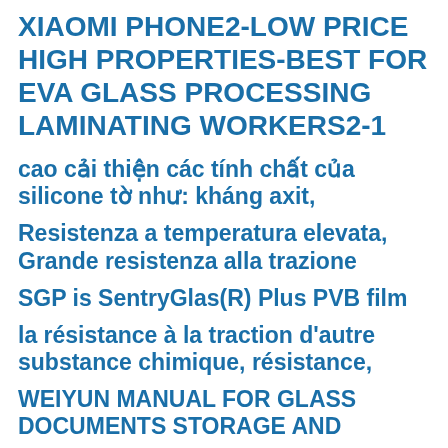XIAOMI PHONE2-LOW PRICE HIGH PROPERTIES-BEST FOR EVA GLASS PROCESSING LAMINATING WORKERS2-1
cao cải thiện các tính chất của silicone tờ như: kháng axit,
Resistenza a temperatura elevata, Grande resistenza alla trazione
SGP is SentryGlas(R) Plus PVB film
la résistance à la traction d'autre substance chimique, résistance,
WEIYUN MANUAL FOR GLASS DOCUMENTS STORAGE AND